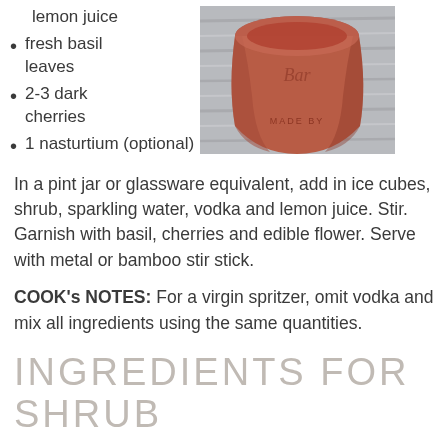lemon juice
fresh basil leaves
2-3 dark cherries
1 nasturtium (optional)
[Figure (photo): A reddish-brown ceramic or pottery cup/vessel on a light wooden surface, viewed from above at a slight angle.]
In a pint jar or glassware equivalent, add in ice cubes, shrub, sparkling water, vodka and lemon juice.  Stir. Garnish with basil, cherries and edible flower.  Serve with metal or bamboo stir stick.
COOK's NOTES:  For a virgin spritzer, omit vodka and mix all ingredients using the same quantities.
INGREDIENTS for SHRUB